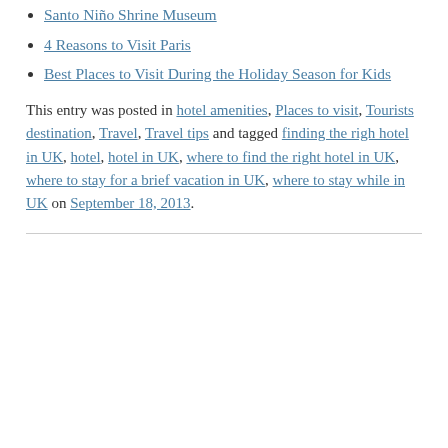Santo Niño Shrine Museum
4 Reasons to Visit Paris
Best Places to Visit During the Holiday Season for Kids
This entry was posted in hotel amenities, Places to visit, Tourists destination, Travel, Travel tips and tagged finding the righ hotel in UK, hotel, hotel in UK, where to find the right hotel in UK, where to stay for a brief vacation in UK, where to stay while in UK on September 18, 2013.